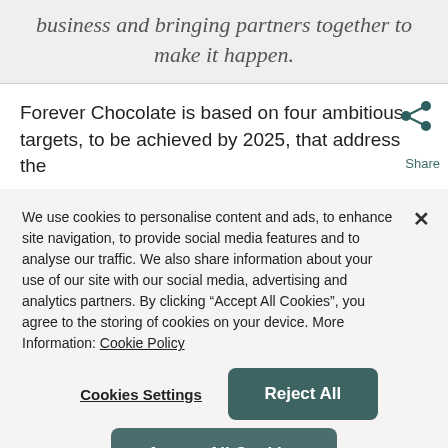business and bringing partners together to make it happen.
Forever Chocolate is based on four ambitious targets, to be achieved by 2025, that address the
We use cookies to personalise content and ads, to enhance site navigation, to provide social media features and to analyse our traffic. We also share information about your use of our site with our social media, advertising and analytics partners. By clicking “Accept All Cookies”, you agree to the storing of cookies on your device. More Information: Cookie Policy
Cookies Settings
Reject All
Accept All Cookies